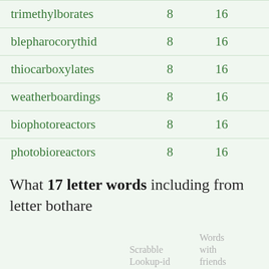| Word | Scrabble Lookup-id points | Words with friends points |
| --- | --- | --- |
| trimethylborates | 8 | 16 |
| blepharocorythid | 8 | 16 |
| thiocarboxylates | 8 | 16 |
| weatherboardings | 8 | 16 |
| biophotoreactors | 8 | 16 |
| photobioreactors | 8 | 16 |
What 17 letter words including from letter bothare
| Word | Scrabble Lookup-id points | Words with friends points |
| --- | --- | --- |